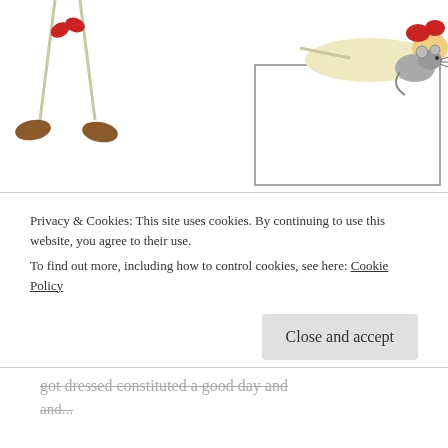[Figure (illustration): Children's book style illustration showing partial figures: on the left, a stick-figure-like character with brown shoes/legs and red elements; on the right, a larger scene with a character lying on what appears to be a surface, with a small grey mouse/rat figure. Colorful, simple drawing style on white background.]
When our daughter first arrived the concept of 'me' time was frankly laughable as we moved about in a daze from each feed, poop, change, repeat to the next. I couldn't remember my own name let alone the need for some time devoted to the vessel that was moving around caring for the baby and
Privacy & Cookies: This site uses cookies. By continuing to use this website, you agree to their use.
To find out more, including how to control cookies, see here: Cookie Policy
Close and accept
got dressed constituted a good day and